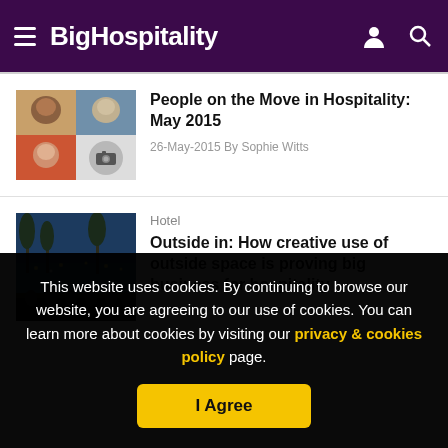BigHospitality
[Figure (photo): Thumbnail collage of people for 'People on the Move in Hospitality: May 2015' article]
People on the Move in Hospitality: May 2015
26-May-2015 By Sophie Witts
Hotel
[Figure (photo): Street scene with lights and crowd at night for 'Outside in' article]
Outside in: How creative use of outside space is proving big business for hospitality
This website uses cookies. By continuing to browse our website, you are agreeing to our use of cookies. You can learn more about cookies by visiting our privacy & cookies policy page.
I Agree